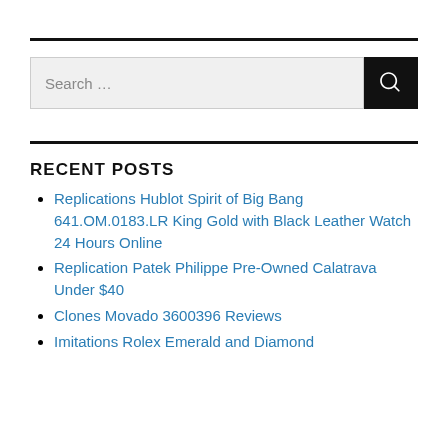[Figure (other): Search bar with text input field labeled 'Search ...' and a black button with a magnifying glass icon]
RECENT POSTS
Replications Hublot Spirit of Big Bang 641.OM.0183.LR King Gold with Black Leather Watch 24 Hours Online
Replication Patek Philippe Pre-Owned Calatrava Under $40
Clones Movado 3600396 Reviews
Imitations Rolex Emerald and Diamond